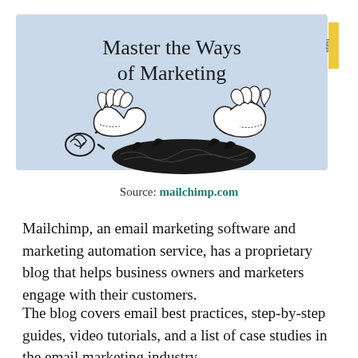[Figure (illustration): Blue banner with title 'Master the Ways of Marketing' and an illustration of two hands pulling apart a dark mass, with a small scribble to the left. Yellow tab on the right edge.]
Source: mailchimp.com
Mailchimp, an email marketing software and marketing automation service, has a proprietary blog that helps business owners and marketers engage with their customers.
The blog covers email best practices, step-by-step guides, video tutorials, and a list of case studies in the email marketing industry.